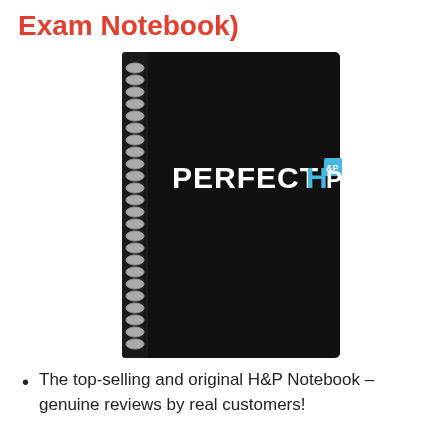Exam Notebook)
[Figure (photo): A black spiral-bound notebook with the 'PERFECTH&P' logo in white and blue text on the cover. The spiral binding is visible on the left side.]
The top-selling and original H&P Notebook – genuine reviews by real customers!